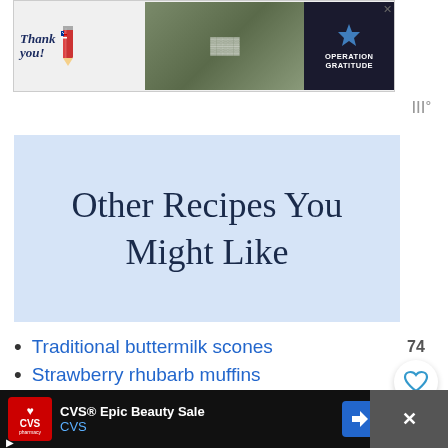[Figure (photo): Advertisement banner: Thank you with pencil graphic, soldiers photo, Operation Gratitude logo on dark background]
[Figure (logo): Weather widget icon (three vertical bars with degree symbol) in top right]
Other Recipes You Might Like
Traditional buttermilk scones
Strawberry rhubarb muffins
Buttermilk pancakes
[Figure (other): Like/favorite button: count 74 and heart icon circle button]
[Figure (other): Bottom advertisement: CVS Epic Beauty Sale advertisement banner with CVS pharmacy logo and navigation arrow button]